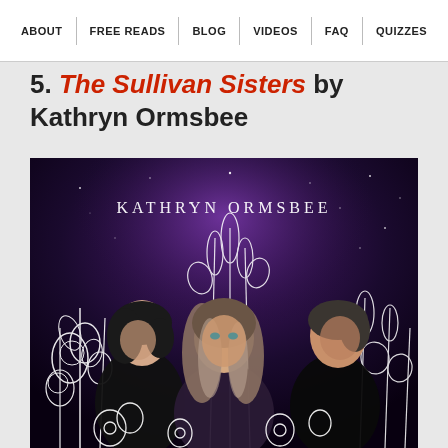ABOUT | FREE READS | BLOG | VIDEOS | FAQ | QUIZZES
5. The Sullivan Sisters by Kathryn Ormsbee
[Figure (illustration): Book cover of 'The Sullivan Sisters' by Kathryn Ormsbee. Three young women illustrated in black and white stand among white flowers and foliage against a dark purple starry night sky. 'KATHRYN ORMSBEE' is written at the top in white text.]